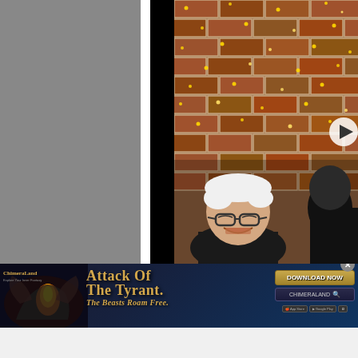[Figure (screenshot): Screenshot of a video player interface showing a gray sidebar on the left, a black gap, and a video thumbnail on the right showing an elderly man with white hair and glasses laughing in front of a brick wall decorated with fairy lights. A play button overlay is visible. Below the video is an advertisement banner for 'Chimeraland' game featuring 'Attack of the Tyrant. The Beasts Roam Free.' text with a Download Now button. The bottom section is a light gray/white area.]